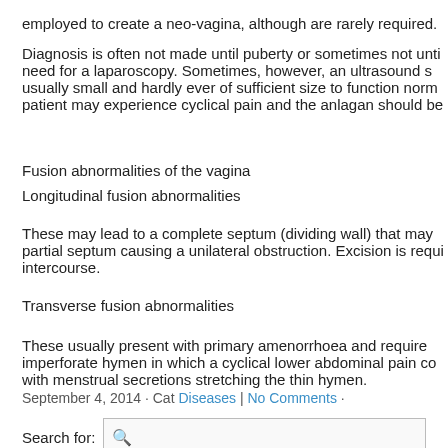employed to create a neo-vagina, although are rarely required.
Diagnosis is often not made until puberty or sometimes not until need for a laparoscopy. Sometimes, however, an ultrasound se usually small and hardly ever of sufficient size to function norma patient may experience cyclical pain and the anlagan should be e
Fusion abnormalities of the vagina
Longitudinal fusion abnormalities
These may lead to a complete septum (dividing wall) that may partial septum causing a unilateral obstruction. Excision is requi intercourse.
Transverse fusion abnormalities
These usually present with primary amenorrhoea and require imperforate hymen in which a cyclical lower abdominal pain co with menstrual secretions stretching the thin hymen.
September 4, 2014 · Cat Diseases | No Comments ·
Search for: